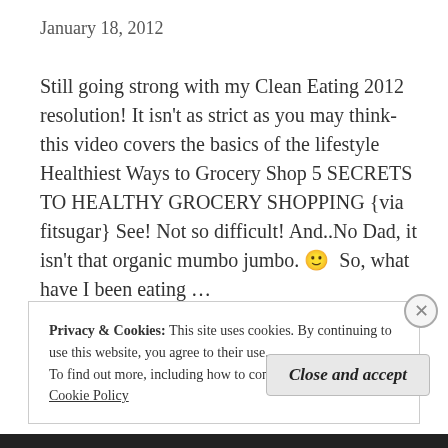January 18, 2012
Still going strong with my Clean Eating 2012 resolution! It isn't as strict as you may think- this video covers the basics of the lifestyle Healthiest Ways to Grocery Shop 5 SECRETS TO HEALTHY GROCERY SHOPPING {via fitsugar} See! Not so difficult! And..No Dad, it isn't that organic mumbo jumbo. 🙂 So, what have I been eating … More
Privacy & Cookies: This site uses cookies. By continuing to use this website, you agree to their use.
To find out more, including how to control cookies, see here: Cookie Policy
Close and accept